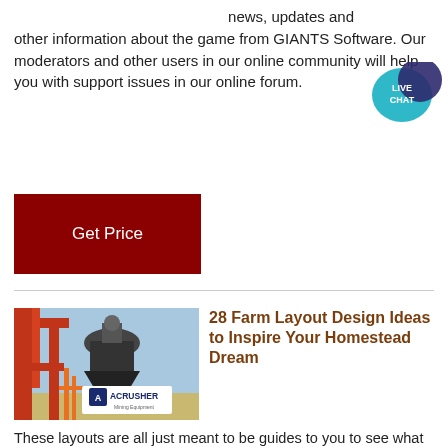news, updates and other information about the game from GIANTS Software. Our moderators and other users in our online community will help you with support issues in our online forum.
[Figure (infographic): Live Chat speech bubble icon with teal background and white text reading LIVE CHAT]
[Figure (other): Dark red Get Price button]
[Figure (photo): Industrial mining equipment (cone crusher) on red steel frame structure with ACRUSHER Mining Equipment logo overlay]
28 Farm Layout Design Ideas to Inspire Your Homestead Dream
These layouts are all just meant to be guides to you to see what you would like on your property and how you could potentially make it